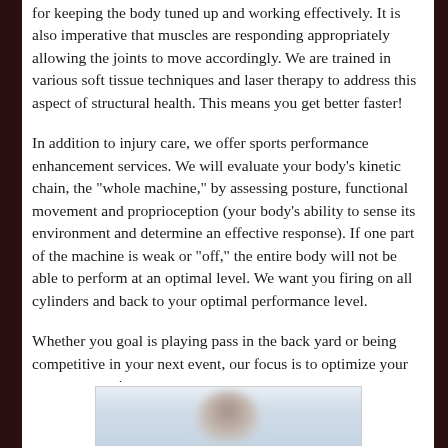for keeping the body tuned up and working effectively. It is also imperative that muscles are responding appropriately allowing the joints to move accordingly. We are trained in various soft tissue techniques and laser therapy to address this aspect of structural health. This means you get better faster!
In addition to injury care, we offer sports performance enhancement services. We will evaluate your body’s kinetic chain, the “whole machine,” by assessing posture, functional movement and proprioception (your body’s ability to sense its environment and determine an effective response). If one part of the machine is weak or "off," the entire body will not be able to perform at an optimal level. We want you firing on all cylinders and back to your optimal performance level.
Whether you goal is playing pass in the back yard or being competitive in your next event, our focus is to optimize your next opportunity.
[Figure (photo): A blurred photograph of a person, partially visible at the bottom of the page.]